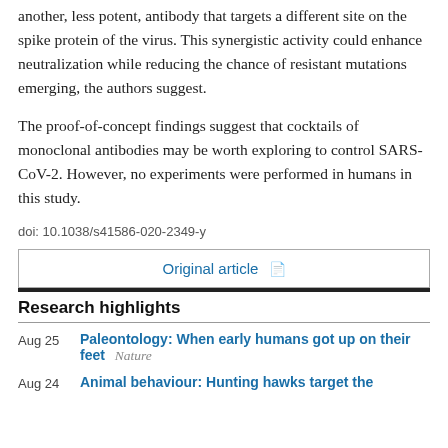another, less potent, antibody that targets a different site on the spike protein of the virus. This synergistic activity could enhance neutralization while reducing the chance of resistant mutations emerging, the authors suggest.
The proof-of-concept findings suggest that cocktails of monoclonal antibodies may be worth exploring to control SARS-CoV-2. However, no experiments were performed in humans in this study.
doi: 10.1038/s41586-020-2349-y
Original article
Research highlights
Aug 25 — Paleontology: When early humans got up on their feet  Nature
Aug 24 — Animal behaviour: Hunting hawks target the  Nature Communications